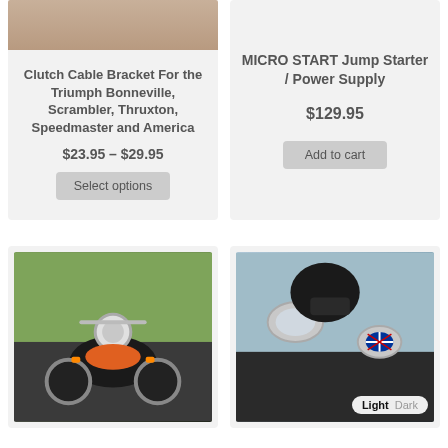[Figure (photo): Tan/beige product photo partial at top of left card]
Clutch Cable Bracket For the Triumph Bonneville, Scrambler, Thruxton, Speedmaster and America
$23.95 – $29.95
Select options
MICRO START Jump Starter / Power Supply
$129.95
Add to cart
[Figure (photo): Orange and black classic motorcycle front view with chrome headlight and handlebars, green grass background]
[Figure (photo): Close-up of motorcycle mirrors and chrome parts with blue sky, Light/Dark UI badge overlay]